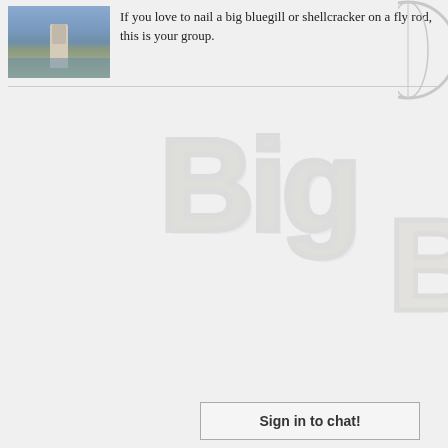[Figure (photo): Photo of a person wading in water, fly fishing]
If you love to nail a big bluegill or shellcracker on a fly rod, this is your group.
[Figure (illustration): Large watermark logo text reading 'Big' in light gray outlined style]
Sign in to chat!